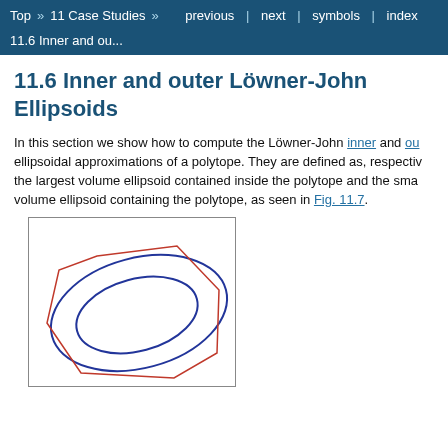Top » 11 Case Studies » previous | next | symbols | index
11.6 Inner and ou...
11.6 Inner and outer Löwner-John Ellipsoids
In this section we show how to compute the Löwner-John inner and outer ellipsoidal approximations of a polytope. They are defined as, respectively, the largest volume ellipsoid contained inside the polytope and the smallest volume ellipsoid containing the polytope, as seen in Fig. 11.7.
[Figure (illustration): Plot showing a polygon (red lines) with two ellipses (blue curves) — the inner Löwner-John ellipsoid inscribed within the polygon and the outer Löwner-John ellipsoid circumscribing the polygon.]